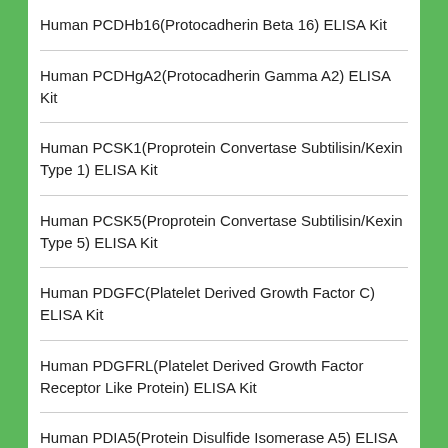Human PCDHb16(Protocadherin Beta 16) ELISA Kit
Human PCDHgA2(Protocadherin Gamma A2) ELISA Kit
Human PCSK1(Proprotein Convertase Subtilisin/Kexin Type 1) ELISA Kit
Human PCSK5(Proprotein Convertase Subtilisin/Kexin Type 5) ELISA Kit
Human PDGFC(Platelet Derived Growth Factor C) ELISA Kit
Human PDGFRL(Platelet Derived Growth Factor Receptor Like Protein) ELISA Kit
Human PDIA5(Protein Disulfide Isomerase A5) ELISA Kit